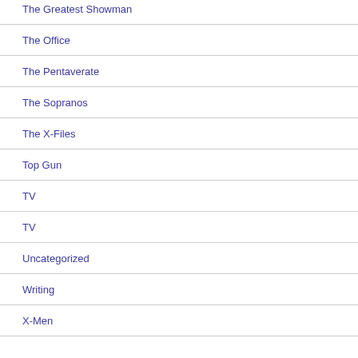The Greatest Showman
The Office
The Pentaverate
The Sopranos
The X-Files
Top Gun
TV
TV
Uncategorized
Writing
X-Men